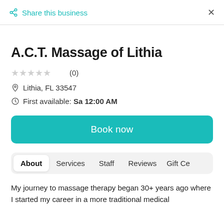Share this business  ×
A.C.T. Massage of Lithia
★★★★★ (0)
Lithia, FL 33547
First available: Sa 12:00 AM
Book now
About   Services   Staff   Reviews   Gift Ce…
My journey to massage therapy began 30+ years ago where I started my career in a more traditional medical